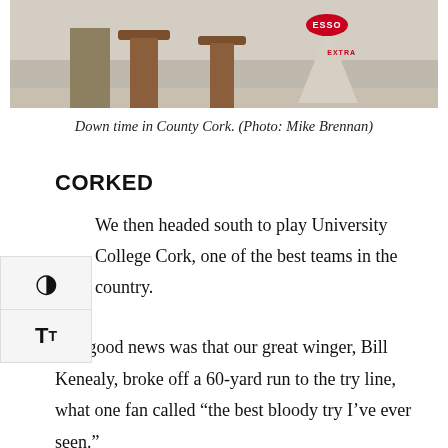[Figure (photo): Photograph of down time in County Cork showing bar stools and an Esso Extra sign in the background]
Down time in County Cork. (Photo: Mike Brennan)
CORKED
We then headed south to play University College Cork, one of the best teams in the country.
The good news was that our great winger, Bill Kenealy, broke off a 60-yard run to the try line, what one fan called “the best bloody try I’ve ever seen.”